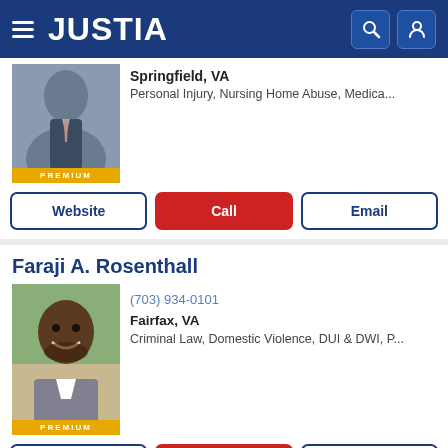JUSTIA
[Figure (photo): Partially visible attorney photo with PREMIUM badge, Springfield VA listing for Personal Injury, Nursing Home Abuse, Medica...]
Springfield, VA
Personal Injury, Nursing Home Abuse, Medica...
Website | Call | Email
Faraji A. Rosenthall
[Figure (photo): Headshot of Faraji A. Rosenthall, African American man smiling in gray suit, with PREMIUM badge]
(703) 934-0101
Fairfax, VA
Criminal Law, Domestic Violence, DUI & DWI, P...
Website | Call | Email
Matthew C. Perushek
[Figure (photo): Partial headshot of Matthew C. Perushek at bottom of page]
(703) 825-8500 (partial)